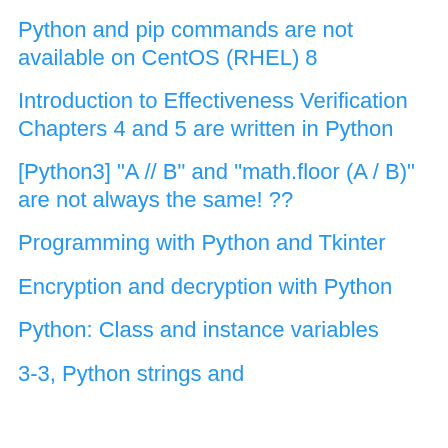Python and pip commands are not available on CentOS (RHEL) 8
Introduction to Effectiveness Verification Chapters 4 and 5 are written in Python
[Python3] "A // B" and "math.floor (A / B)" are not always the same! ??
Programming with Python and Tkinter
Encryption and decryption with Python
Python: Class and instance variables
3-3, Python strings and